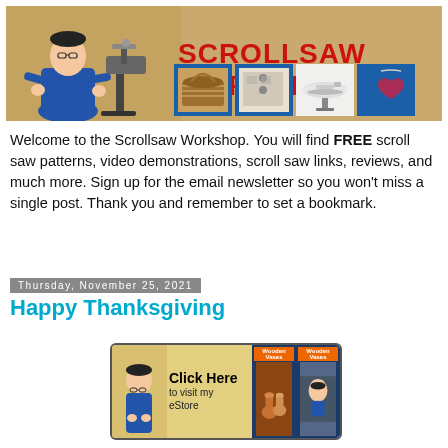[Figure (illustration): Scrollsaw Workshop banner with man in blue shirt, scroll saw on stand, and four thumbnail images of crafts (basket, decorated box, airplane model, jewelry pendant). Large red bold text reads SCROLLSAW WORKSHOP.]
Welcome to the Scrollsaw Workshop. You will find FREE scroll saw patterns, video demonstrations, scroll saw links, reviews, and much more. Sign up for the email newsletter so you won't miss a single post. Thank you and remember to set a bookmark.
Thursday, November 25, 2021
Happy Thanksgiving
[Figure (illustration): Advertisement banner: man in blue shirt on left, large text 'Click Here to visit my eStore', two book covers for 'Wooden Vases' on right side.]